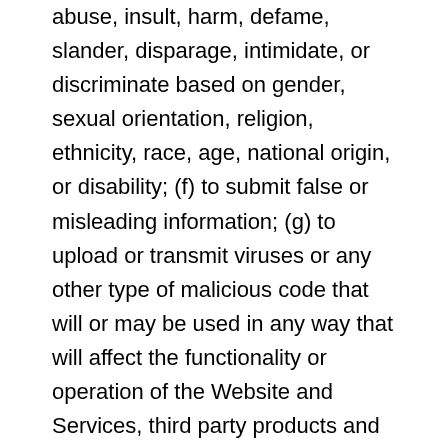abuse, insult, harm, defame, slander, disparage, intimidate, or discriminate based on gender, sexual orientation, religion, ethnicity, race, age, national origin, or disability; (f) to submit false or misleading information; (g) to upload or transmit viruses or any other type of malicious code that will or may be used in any way that will affect the functionality or operation of the Website and Services, third party products and services, or the Internet; (h) to spam, phish, pharm, pretext, spider, crawl, or scrape; (i) for any obscene or immoral purpose; or (j) to interfere with or circumvent the security features of the Website and Services, third party products and services, or the Internet. We reserve the right to terminate your use of the Website and Services for violating any of the prohibited uses